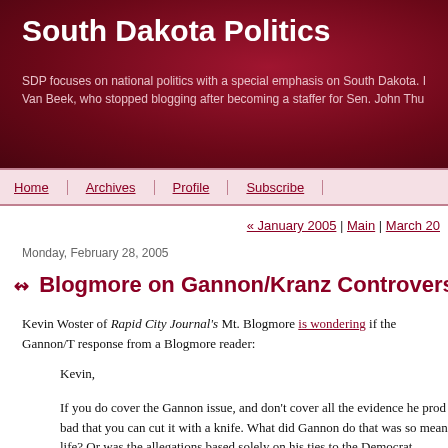South Dakota Politics
SDP focuses on national politics with a special emphasis on South Dakota. I Van Beek, who stopped blogging after becoming a staffer for Sen. John Thu
Home | Archives | Profile | Subscribe
« January 2005 | Main | March 20
Monday, February 28, 2005
Blogmore on Gannon/Kranz Controversy
Kevin Woster of Rapid City Journal's Mt. Blogmore is wondering if the Gannon/T response from a Blogmore reader:
Kevin,
If you do cover the Gannon issue, and don't cover all the evidence he prod bad that you can cut it with a knife. What did Gannon do that was so mean life? Or was the allegations based solely on his ties to the Democrat Party?
Isn't there some unwritten rule that journalists cannot hold other journalist another paper and the publisher refused to print it saying: we do not want t body of the competition, lose credibility in our town. The competitor then...